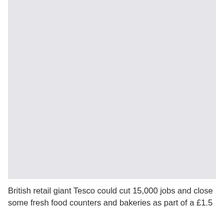[Figure (photo): A large placeholder image with light grey background, representing a photo related to Tesco retail stores.]
British retail giant Tesco could cut 15,000 jobs and close some fresh food counters and bakeries as part of a £1.5